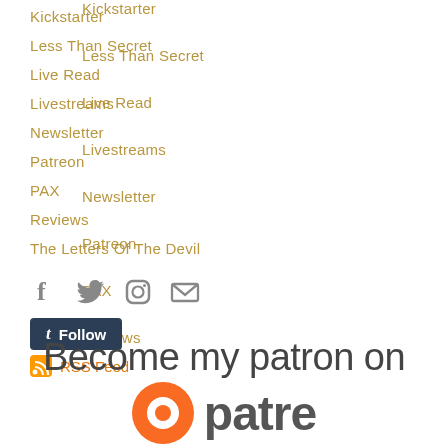Kickstarter
Less Than Secret
Live Read
Livestreams
Newsletter
Patreon
PAX
Reviews
The Letters Of The Devil
[Figure (infographic): Social media icons: Facebook, Twitter, Instagram, Email]
[Figure (infographic): Tumblr Follow button (dark navy background, white text)]
[Figure (infographic): RSS Feed link with orange RSS icon]
[Figure (logo): Patreon logo: 'Become my patron on' text above partial Patreon wordmark with orange circle icon]